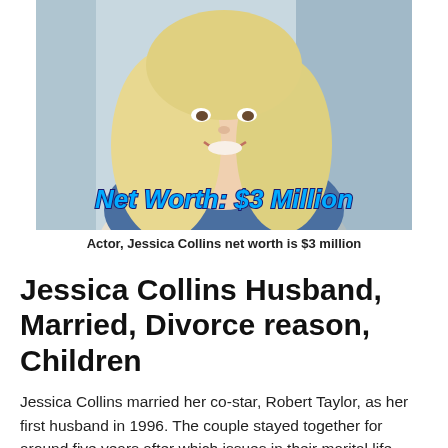[Figure (photo): Blonde woman taking a selfie in a car, wearing a denim jacket. Overlay text reads 'Net Worth: $3 Million' in bold blue italic font with dark outline.]
Actor, Jessica Collins net worth is $3 million
Jessica Collins Husband, Married, Divorce reason, Children
Jessica Collins married her co-star, Robert Taylor, as her first husband in 1996. The couple stayed together for around five years after which issues in their marital life brought them to an